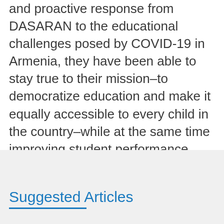and proactive response from DASARAN to the educational challenges posed by COVID-19 in Armenia, they have been able to stay true to their mission–to democratize education and make it equally accessible to every child in the country–while at the same time improving student performance, augmenting teacher capacity, and contributing to state-level, data-driven educational decision-making.
Suggested Articles